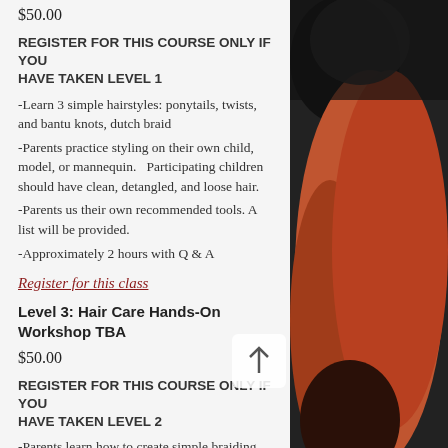$50.00
REGISTER FOR THIS COURSE ONLY IF YOU HAVE TAKEN LEVEL 1
-Learn 3 simple hairstyles: ponytails, twists, and bantu knots, dutch braid
-Parents practice styling on their own child, model, or mannequin.   Participating children should have clean, detangled, and loose hair.
-Parents us their own recommended tools. A list will be provided.
-Approximately 2 hours with Q & A
Register for this class
Level 3: Hair Care Hands-On Workshop TBA
$50.00
REGISTER FOR THIS COURSE ONLY IF YOU HAVE TAKEN LEVEL 2
-Parents learn how to create simple braiding
[Figure (photo): A person wearing an orange/coral outfit, photo cropped on the right side of the page]